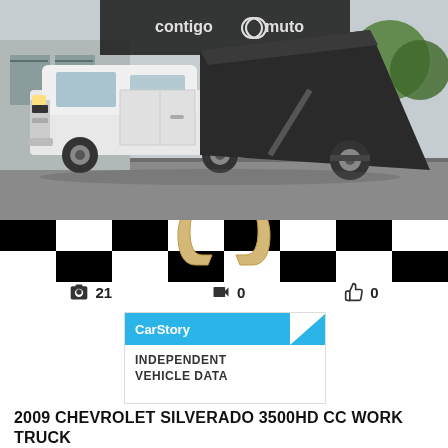[Figure (photo): White 2009 Chevrolet Silverado 3500HD crew cab truck with a 10-foot dump bed raised, photographed from the side in a parking lot. Dealer branding visible in background.]
[Figure (illustration): Checkered racing flag banner with horseshoe logo overlay in tan/gold color]
21
0
0
[Figure (logo): CarStory INDEPENDENT VEHICLE DATA badge with blue header and white body]
2009 CHEVROLET SILVERADO 3500HD CC WORK TRUCK
10 FOOT DUMP BED
Unavailable
Sold